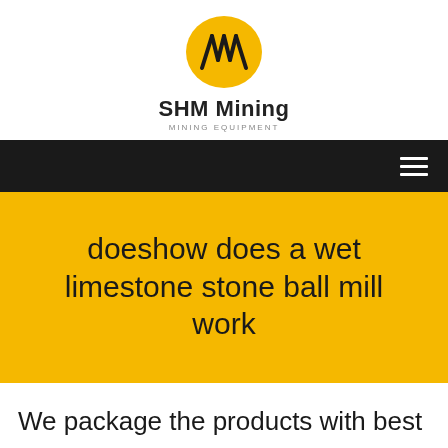[Figure (logo): SHM Mining logo: yellow oval with black diagonal lines symbol above the brand name 'SHM Mining' and tagline 'MINING EQUIPMENT']
SHM Mining MINING EQUIPMENT
doeshow does a wet limestone stone ball mill work
We package the products with best